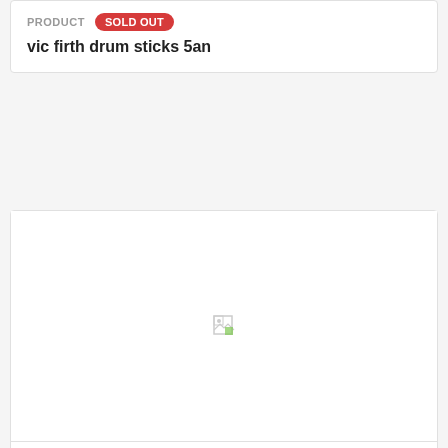PRODUCT  SOLD OUT
vic firth drum sticks 5an
[Figure (photo): Product image area with broken image placeholder]
PRODUCT  SOLD OUT
Aquarian Super-Kick Clear Double Ply Bass Drum Head